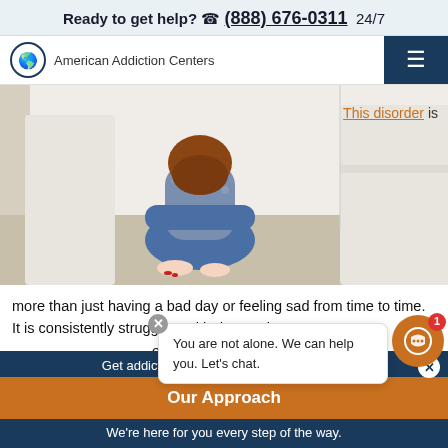Ready to get help? (888) 676-0311  24/7
[Figure (logo): American Addiction Centers logo with globe icon and hamburger menu button]
[Figure (photo): Person sitting on floor hugging knees, appearing distressed, next to white couch]
This disorder is more than just having a bad day or feeling sad from time to time. It is consistently struggling with depressive symptoms that le... acute or severe t... disorder.3 While the symptoms may ebb and flow, they
You are not alone. We can help you. Let's chat.
Get addiction help now (24/7 helpline)
Our Approach
We're here for you every step of the way.